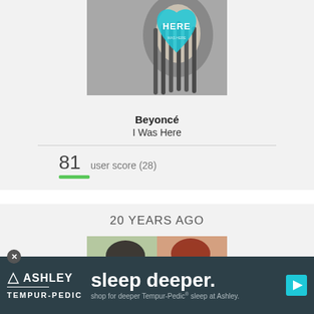[Figure (photo): Beyoncé 'I Was Here' album art — black and white photo of woman with braids, teal heart shape overlay with text 'HERE']
Beyoncé
I Was Here
81   user score (28)
20 YEARS AGO
[Figure (photo): Photo of two young women — one with dark hair, one with red hair]
[Figure (other): Ashley Furniture / Tempur-Pedic advertisement banner: 'sleep deeper. shop for deeper Tempur-Pedic sleep at Ashley.']